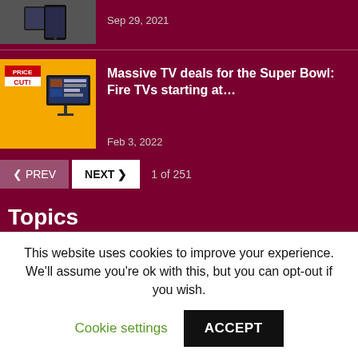Sep 29, 2021
Massive TV deals for the Super Bowl: Fire TVs starting at…
Feb 3, 2022
< PREV   NEXT >   1 of 251
Topics
Smartphones  356
Cellular Networks  346
This website uses cookies to improve your experience. We'll assume you're ok with this, but you can opt-out if you wish.
Cookie settings
ACCEPT